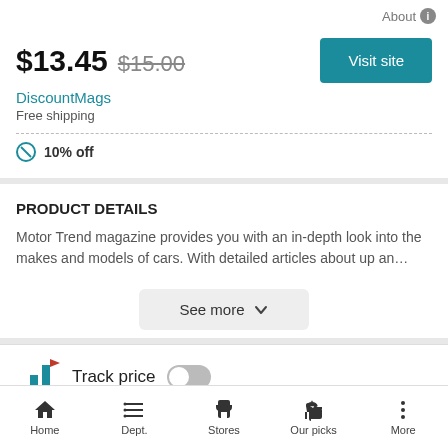About ℹ
$13.45  $15.00
DiscountMags
Free shipping
10% off
PRODUCT DETAILS
Motor Trend magazine provides you with an in-depth look into the makes and models of cars. With detailed articles about up an…
See more ∨
Track price
Home  Dept.  Stores  Our picks  More